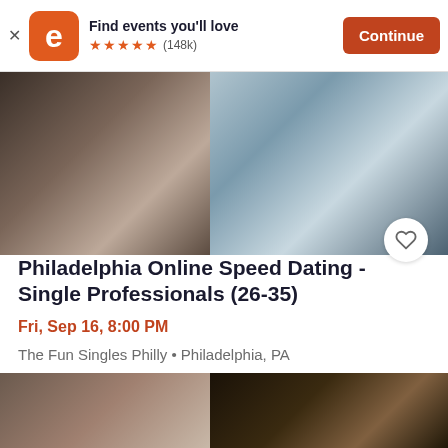[Figure (screenshot): Eventbrite app banner with orange-red logo icon showing letter e, text 'Find events you'll love', five orange stars, (148k) reviews, and orange Continue button]
[Figure (photo): Split photo: left side shows person's hands typing on laptop at desk, right side shows man in grey polo shirt holding smartphone]
Philadelphia Online Speed Dating - Single Professionals (26-35)
Fri, Sep 16, 8:00 PM
The Fun Singles Philly • Philadelphia, PA
$0 - $29.96
[Figure (photo): Split photo at bottom: left side shows curly-haired man looking down, right side shows dimly lit bar/restaurant scene with bokeh light]